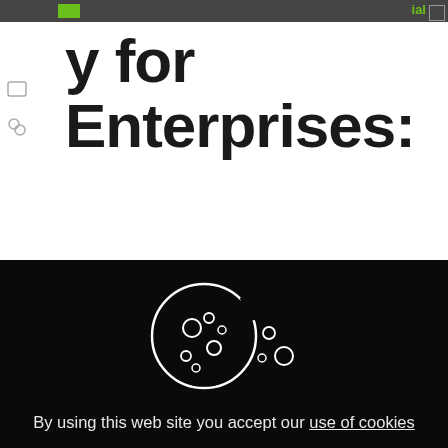y for Enterprises:
[Figure (illustration): Cookie icon — a partially bitten cookie with circular spots/holes, with crumbs scattered to the right, white outline on dark background]
By using this web site you accept our use of cookies
Accept